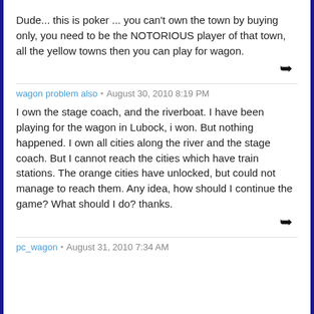Dude... this is poker ... you can't own the town by buying only, you need to be the NOTORIOUS player of that town, all the yellow towns then you can play for wagon.
wagon problem also • August 30, 2010 8:19 PM
I own the stage coach, and the riverboat. I have been playing for the wagon in Lubock, i won. But nothing happened. I own all cities along the river and the stage coach. But I cannot reach the cities which have train stations. The orange cities have unlocked, but could not manage to reach them. Any idea, how should I continue the game? What should I do? thanks.
pc_wagon • August 31, 2010 7:34 AM